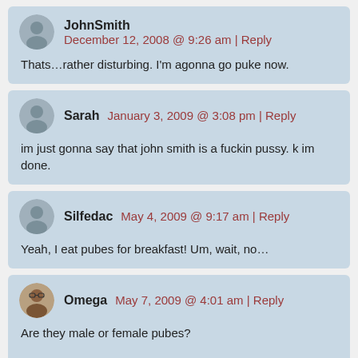JohnSmith   December 12, 2008 @ 9:26 am | Reply
Thats...rather disturbing. I'm agonna go puke now.
Sarah   January 3, 2009 @ 3:08 pm | Reply
im just gonna say that john smith is a fuckin pussy. k im done.
Silfedac   May 4, 2009 @ 9:17 am | Reply
Yeah, I eat pubes for breakfast! Um, wait, no...
Omega   May 7, 2009 @ 4:01 am | Reply
Are they male or female pubes?
Because that there could be different criteria right there...